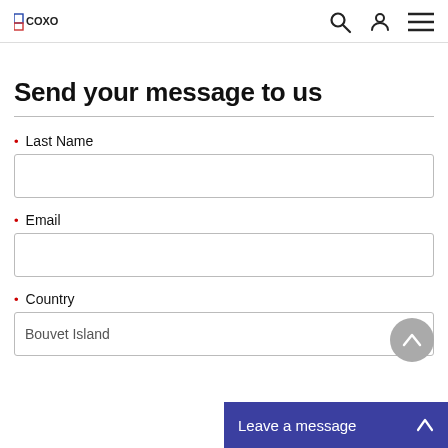COXO [logo] | Search | Account | Menu
Send your message to us
* Last Name
* Email
* Country
Bouvet Island
Leave a message